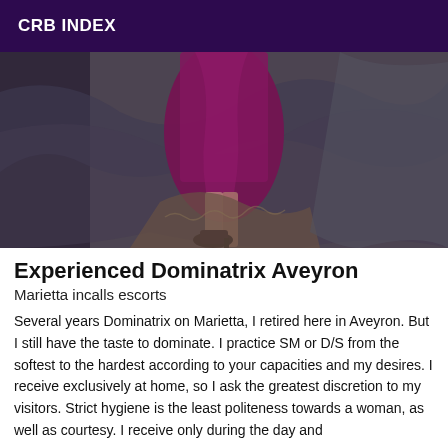CRB INDEX
[Figure (photo): Photo of a person in a purple/magenta dress with black high heels, standing on rumpled grey and patterned fabric, cropped to show lower body only.]
Experienced Dominatrix Aveyron
Marietta incalls escorts
Several years Dominatrix on Marietta, I retired here in Aveyron. But I still have the taste to dominate. I practice SM or D/S from the softest to the hardest according to your capacities and my desires. I receive exclusively at home, so I ask the greatest discretion to my visitors. Strict hygiene is the least politeness towards a woman, as well as courtesy. I receive only during the day and